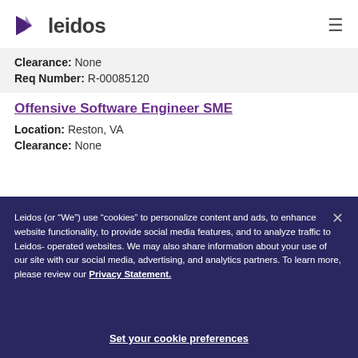[Figure (logo): Leidos company logo with purple arrow/triangle icon and bold 'leidos' text]
Clearance: None
Req Number: R-00085120
Offensive Software Engineer SME
Location: Reston, VA
Clearance: None
Leidos (or "We") use "cookies" to personalize content and ads, to enhance website functionality, to provide social media features, and to analyze traffic to Leidos-operated websites. We may also share information about your use of our site with our social media, advertising, and analytics partners. To learn more, please review our Privacy Statement.
Set your cookie preferences